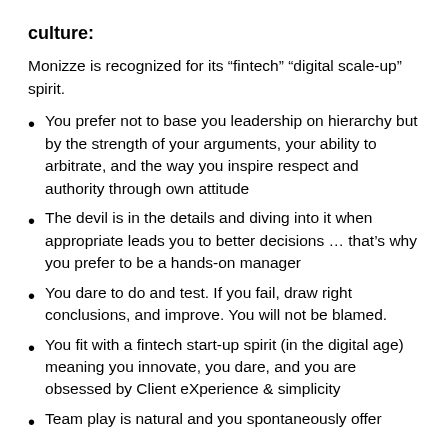culture:
Monizze is recognized for its “fintech” “digital scale-up” spirit.
You prefer not to base you leadership on hierarchy but by the strength of your arguments, your ability to arbitrate, and the way you inspire respect and authority through own attitude
The devil is in the details and diving into it when appropriate leads you to better decisions … that’s why you prefer to be a hands-on manager
You dare to do and test. If you fail, draw right conclusions, and improve. You will not be blamed.
You fit with a fintech start-up spirit (in the digital age) meaning you innovate, you dare, and you are obsessed by Client eXperience & simplicity
Team play is natural and you spontaneously offer